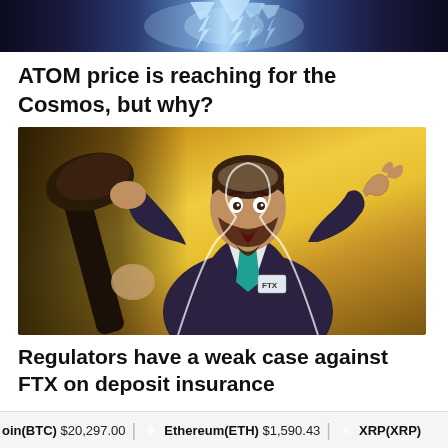[Figure (illustration): Top banner with lightning bolt effect on dark blue background]
ATOM price is reaching for the Cosmos, but why?
[Figure (illustration): Comic-style illustration of a man in a suit with FTX badge, looking surprised with hands raised, with a gavel visible on the left, on a golden/yellow background]
Regulators have a weak case against FTX on deposit insurance
oin(BTC) $20,297.00   Ethereum(ETH) $1,590.43   XRP(XRP)